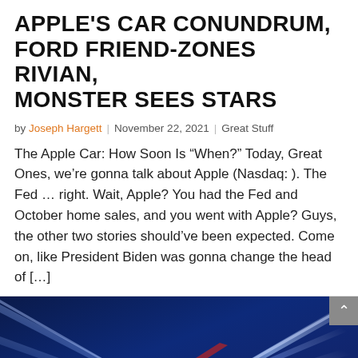APPLE'S CAR CONUNDRUM, FORD FRIEND-ZONES RIVIAN, MONSTER SEES STARS
by Joseph Hargett | November 22, 2021 | Great Stuff
The Apple Car: How Soon Is “When?” Today, Great Ones, we’re gonna talk about Apple (Nasdaq: ). The Fed … right. Wait, Apple? You had the Fed and October home sales, and you went with Apple? Guys, the other two stories should’ve been expected. Come on, like President Biden was gonna change the head of […]
[Figure (photo): Motion-blur photo of car light trails on a highway at night, blue and white streaks with a red light trail, dark blue background.]